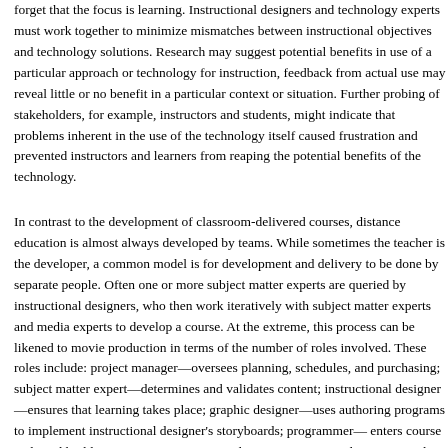forget that the focus is learning. Instructional designers and technology experts must work together to minimize mismatches between instructional objectives and technology solutions. Research may suggest potential benefits in use of a particular approach or technology for instruction, but feedback from actual use may reveal little or no benefit in a particular context or situation. Further probing of stakeholders, for example, instructors and students, might indicate that problems inherent in the use of the technology itself caused frustration and prevented instructors and learners from reaping the potential benefits of the technology.
In contrast to the development of classroom-delivered courses, distance education is almost always developed by teams. While sometimes the teacher is the developer, a common model is for development and delivery to be done by separate people. Often one or more subject matter experts are queried by instructional designers, who then work iteratively with subject matter experts and media experts to develop a course. At the extreme, this process can be likened to movie production in terms of the number of roles involved. These roles include: project manager—oversees planning, schedules, and purchasing; subject matter expert—determines and validates content; instructional designer—ensures that learning takes place; graphic designer—uses authoring programs to implement instructional designer's storyboards; programmer— enters course code and builds interactive exercises; quality assurance specialist—tests and